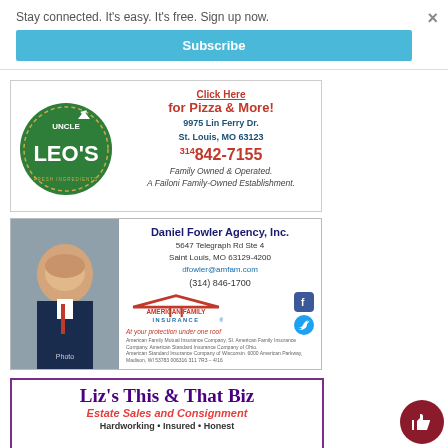Stay connected. It's easy. It's free. Sign up now.
×
Subscribe
[Figure (logo): Uncle Leo's Pizza circular green logo with pizza slice icon]
Click Here for Pizza & More! 9975 Lin Ferry Dr. St. Louis, MO 63123 314 842-7155 Family Owned & Operated. A Failoni Family-Owned Establishment.
[Figure (photo): Headshot photo of a middle-aged man in a suit with red tie, smiling]
Daniel Fowler Agency, Inc. 5647 Telegraph Rd Ste 4 Saint Louis, MO 63129-4200 dfowler@amfam.com (314) 846-1700
[Figure (logo): American Family Insurance logo with red roof graphic]
American Family Mutual Insurance Company, SI. American Family Insurance Company. American Standard Insurance Company of Ohio. American Standard Insurance Company of Wisconsin. 6000 American Parkway, Madison, WI 53783 006316 311 7R3 – 4/16
Liz's This & That Biz Estate Sales and Consignment Hardworking • Insured • Honest